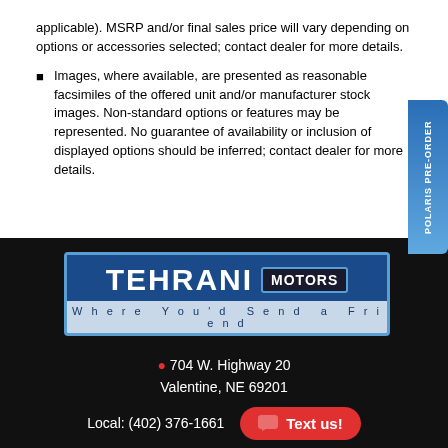applicable). MSRP and/or final sales price will vary depending on options or accessories selected; contact dealer for more details.
Images, where available, are presented as reasonable facsimiles of the offered unit and/or manufacturer stock images. Non-standard options or features may be represented. No guarantee of availability or inclusion of displayed options should be inferred; contact dealer for more details.
[Figure (logo): Tehrani Motors logo — blue background with large white TEHRANI text and MOTORS in dark box. Tagline: Where You'd Send a Friend]
704 W. Highway 20 Valentine, NE 69201 Local: (402) 376-1661
[Figure (illustration): Social media icons: Facebook, Twitter, Instagram, YouTube, and another platform]